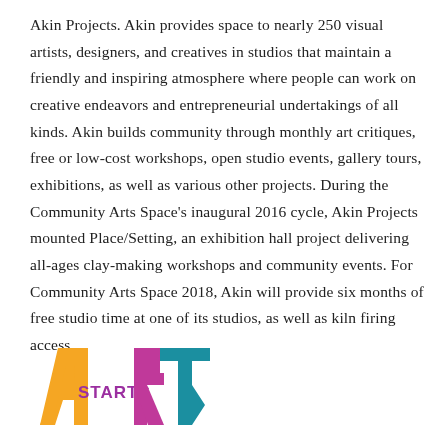Akin Projects. Akin provides space to nearly 250 visual artists, designers, and creatives in studios that maintain a friendly and inspiring atmosphere where people can work on creative endeavors and entrepreneurial undertakings of all kinds. Akin builds community through monthly art critiques, free or low-cost workshops, open studio events, gallery tours, exhibitions, as well as various other projects. During the Community Arts Space's inaugural 2016 cycle, Akin Projects mounted Place/Setting, an exhibition hall project delivering all-ages clay-making workshops and community events. For Community Arts Space 2018, Akin will provide six months of free studio time at one of its studios, as well as kiln firing access.
[Figure (logo): Art Starts logo: stylized letters A R T with STARTS text, in orange, purple/magenta, and teal colors]